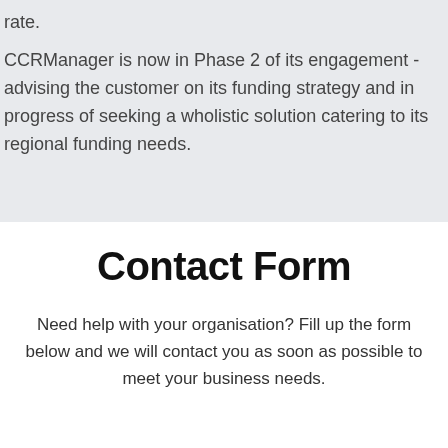rate.
CCRManager is now in Phase 2 of its engagement -  advising the customer on its funding strategy and in progress of seeking a wholistic solution catering to its regional funding needs.
Contact Form
Need help with your organisation? Fill up the form below and we will contact you as soon as possible to meet your business needs.